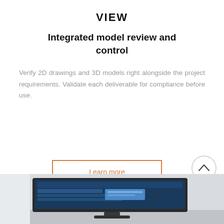VIEW
Integrated model review and control
Verify 2D drawings and 3D models right alongside the project requirements. Validate each deliverable for compliance before use.
[Figure (other): Orange-bordered 'Learn more' button and a circular up-arrow navigation button]
[Figure (photo): Partial photo at bottom showing a computer monitor/screen on a desk]